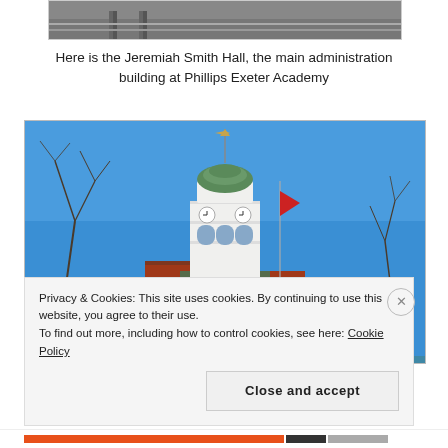[Figure (photo): Partial top edge of a photo showing a road or path with rails, cropped at the top of the page]
Here is the Jeremiah Smith Hall, the main administration building at Phillips Exeter Academy
[Figure (photo): Photograph of Jeremiah Smith Hall bell tower at Phillips Exeter Academy, featuring a white cupola with green dome and weathervane on top, clock faces, brick chimneys, against a bright blue sky. A red flag is visible on a flagpole. Bare tree branches visible on left side.]
Privacy & Cookies: This site uses cookies. By continuing to use this website, you agree to their use.
To find out more, including how to control cookies, see here: Cookie Policy
Close and accept